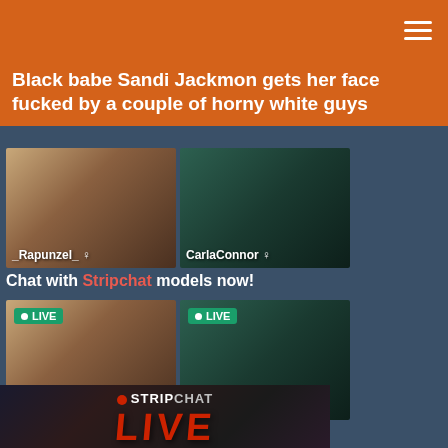Black babe Sandi Jackmon gets her face fucked by a couple of horny white guys
[Figure (photo): Two live stream thumbnails side by side: left shows _Rapunzel_ (blonde woman), right shows CarlaConnor (dark-haired woman in green dress)]
Chat with Stripchat models now!
[Figure (photo): Two live stream thumbnails with LIVE badges: left shows _Rapunzel_ (blonde woman), right shows CarlaConnor (dark-haired woman in green dress)]
[Figure (photo): Stripchat promotional banner with LIVE text and red dot indicator]